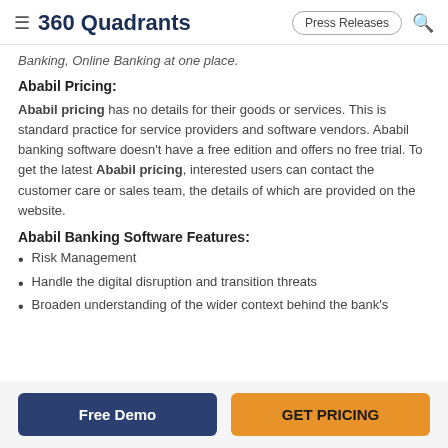360 Quadrants
Banking, Online Banking at one place.
Ababil Pricing:
Ababil pricing has no details for their goods or services. This is standard practice for service providers and software vendors. Ababil banking software doesn't have a free edition and offers no free trial. To get the latest Ababil pricing, interested users can contact the customer care or sales team, the details of which are provided on the website.
Ababil Banking Software Features:
Risk Management
Handle the digital disruption and transition threats
Broaden understanding of the wider context behind the bank's
Free Demo | GET PRICING